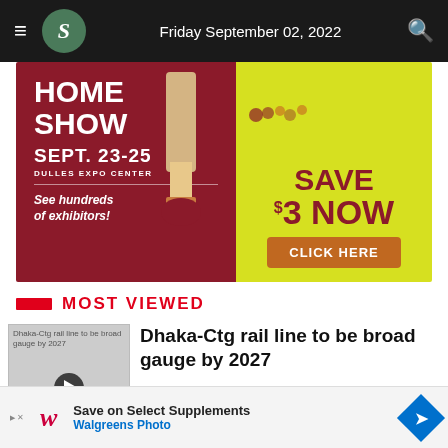Friday September 02, 2022
[Figure (photo): Home Show advertisement banner. Red and yellow background with a paint brush. Text: HOME SHOW, SEPT. 23-25, DULLES EXPO CENTER, See hundreds of exhibitors!, SAVE $3 NOW, CLICK HERE]
MOST VIEWED
[Figure (photo): Thumbnail image for article: Dhaka-Ctg rail line to be broad gauge by 2027, with a play button overlay]
Dhaka-Ctg rail line to be broad gauge by 2027
[Figure (photo): Walgreens Photo advertisement: Save on Select Supplements]